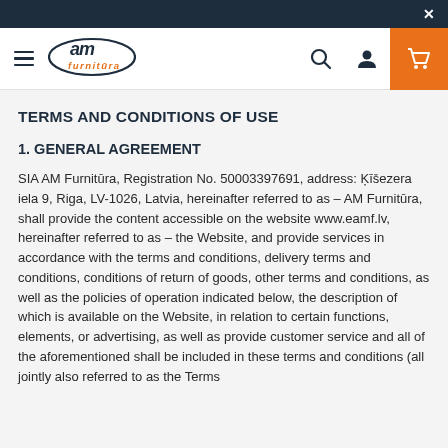AM Furnitura website header navigation
TERMS AND CONDITIONS OF USE
1. GENERAL AGREEMENT
SIA AM Furnitūra, Registration No. 50003397691, address: Ķīšezera iela 9, Riga, LV-1026, Latvia, hereinafter referred to as – AM Furnitūra, shall provide the content accessible on the website www.eamf.lv, hereinafter referred to as – the Website, and provide services in accordance with the terms and conditions, delivery terms and conditions, conditions of return of goods, other terms and conditions, as well as the policies of operation indicated below, the description of which is available on the Website, in relation to certain functions, elements, or advertising, as well as provide customer service and all of the aforementioned shall be included in these terms and conditions (all jointly also referred to as the Terms